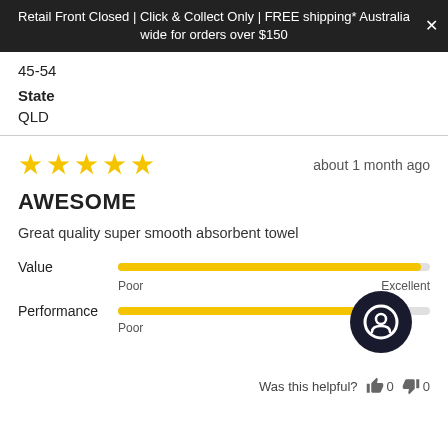Retail Front Closed | Click & Collect Only | FREE shipping* Australia wide for orders over $150
45-54
State
QLD
★★★★★  about 1 month ago
AWESOME
Great quality super smooth absorbent towel
[Figure (infographic): Value rating bar: yellow filled bar spanning nearly full width labeled Poor on left and Excellent on right]
[Figure (infographic): Performance rating bar: yellow filled bar spanning about 80% width labeled Poor on left, with a dark circular chat bubble icon on right]
Was this helpful?  👍 0  👎 0